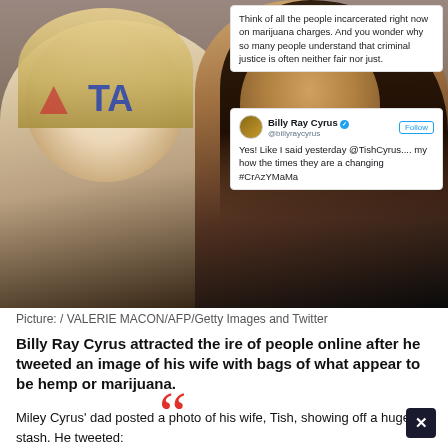[Figure (photo): Photo of a blonde woman and a man with long dark hair and beard at an event, with two Twitter/X tweet overlays on the right side. The tweets read: (1) 'Think of all the people incarcerated right now on marijuana charges. And you wonder why so many people understand that criminal justice is often neither fair nor just.' (2) Billy Ray Cyrus tweet: 'Yes! Like I said yesterday @TishCyrus.... my how the times they are a changing #CrAzYMaMa']
Picture: / VALERIE MACON/AFP/Getty Images and Twitter
Billy Ray Cyrus attracted the ire of people online after he tweeted an image of his wife with bags of what appear to be hemp or marijuana.
Miley Cyrus' dad posted a photo of his wife, Tish, showing off a huge stash. He tweeted: